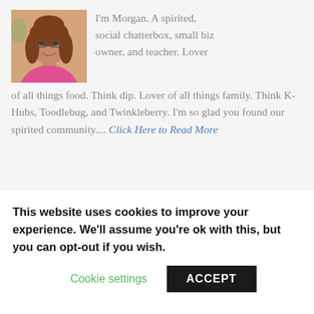[Figure (photo): Profile photo of Morgan, a woman with glasses and long brown hair wearing a pink top, smiling at the camera]
I'm Morgan. A spirited, social chatterbox, small biz owner, and teacher. Lover of all things food. Think dip. Lover of all things family. Think K-Hubs, Toodlebug, and Twinkleberry. I'm so glad you found our spirited community.... Click Here to Read More
« CINNAMON, SWEET POTATO, AND CARROT SOUP
This website uses cookies to improve your experience. We'll assume you're ok with this, but you can opt-out if you wish.
Cookie settings
ACCEPT